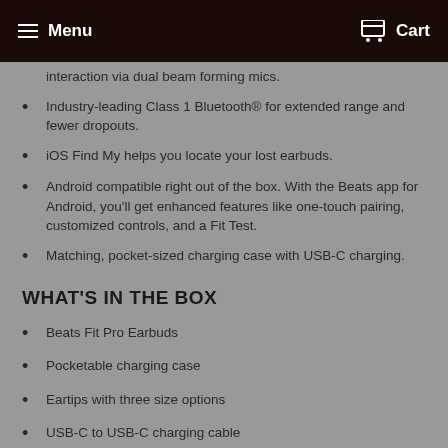Menu  Cart
interaction via dual beam forming mics.
Industry-leading Class 1 Bluetooth® for extended range and fewer dropouts.
iOS Find My helps you locate your lost earbuds.
Android compatible right out of the box. With the Beats app for Android, you'll get enhanced features like one-touch pairing, customized controls, and a Fit Test.
Matching, pocket-sized charging case with USB-C charging.
WHAT'S IN THE BOX
Beats Fit Pro Earbuds
Pocketable charging case
Eartips with three size options
USB-C to USB-C charging cable
Quick Start Guide